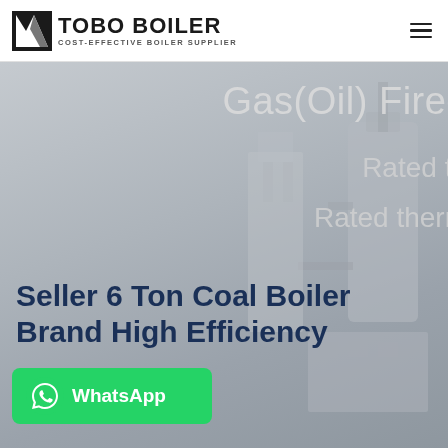[Figure (logo): TOBO BOILER logo with geometric icon and tagline COST-EFFECTIVE BOILER SUPPLIER]
[Figure (photo): Industrial coal/gas boiler equipment photo used as hero background, with partial overlay text reading Gas(Oil) Fired, Rated th..., Rated therm...]
Seller 6 Ton Coal Boiler Brand High Efficiency
[Figure (other): WhatsApp chat button with green background and WhatsApp icon]